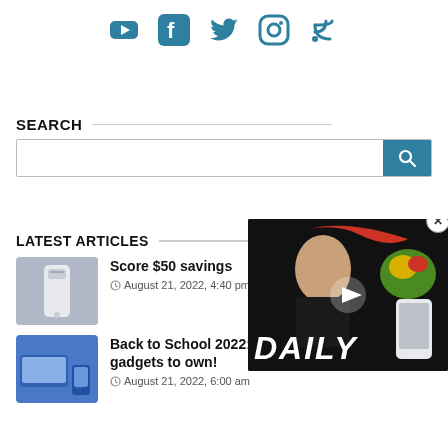[Figure (illustration): Social media icons row: YouTube, Facebook, Twitter, Instagram, RSS feed — teal/dark-cyan colored icons on white background]
SEARCH
[Figure (screenshot): Search input box with teal search button containing magnifying glass icon]
LATEST ARTICLES
[Figure (photo): Thumbnail image of a smartphone (Pixel) shown from the back, white/light color]
Score $50 savings
August 21, 2022, 4:40 pm
[Figure (screenshot): Floating video player overlay with dark background, showing a man with parrot and phone, DAILY text, play button, and close X button]
[Figure (photo): Thumbnail image showing a laptop and phone for Back to School article]
Back to School 2022: These are the best gadgets to own!
August 21, 2022, 6:00 am